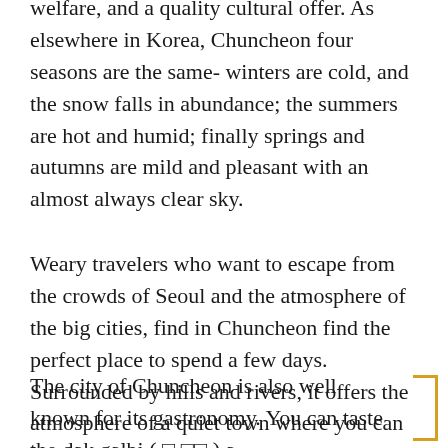welfare, and a quality cultural offer. As elsewhere in Korea, Chuncheon four seasons are the same- winters are cold, and the snow falls in abundance; the summers are hot and humid; finally springs and autumns are mild and pleasant with an almost always clear sky.
Weary travelers who want to escape from the crowds of Seoul and the atmosphere of the big cities, find in Chuncheon find the perfect place to spend a few days. Surrounded by hills and rivers, it offers the atmosphere of a quiet town where you can enjoy many outdoor activities.That is why the city of Chuncheon became a popular place to stay.
The city of Chuncheon is also well known for its gastronomy. You can taste the dak galbi ( □ □□ ) a